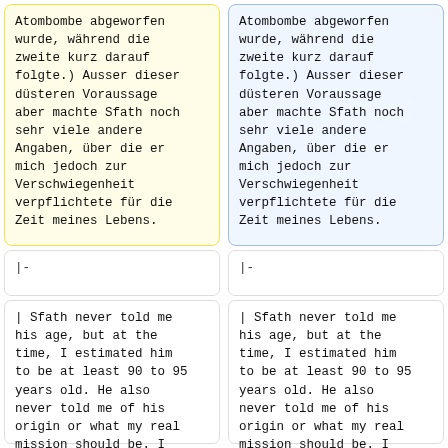Atombombe abgeworfen wurde, während die zweite kurz darauf folgte.) Ausser dieser düsteren Voraussage aber machte Sfath noch sehr viele andere Angaben, über die er mich jedoch zur Verschwiegenheit verpflichtete für die Zeit meines Lebens.
Atombombe abgeworfen wurde, während die zweite kurz darauf folgte.) Ausser dieser düsteren Voraussage aber machte Sfath noch sehr viele andere Angaben, über die er mich jedoch zur Verschwiegenheit verpflichtete für die Zeit meines Lebens.
|-
|-
| Sfath never told me his age, but at the time, I estimated him to be at least 90 to 95 years old. He also never told me of his origin or what my real mission should be. I found out the latter only decades later from
| Sfath never told me his age, but at the time, I estimated him to be at least 90 to 95 years old. He also never told me of his origin or what my real mission should be. I found out the latter only decades later from